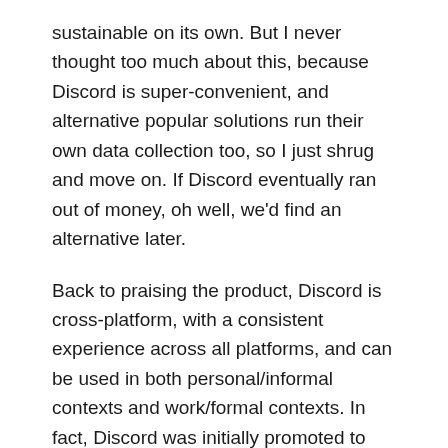sustainable on its own. But I never thought too much about this, because Discord is super-convenient, and alternative popular solutions run their own data collection too, so I just shrug and move on. If Discord eventually ran out of money, oh well, we'd find an alternative later.
Back to praising the product, Discord is cross-platform, with a consistent experience across all platforms, and can be used in both personal/informal contexts and work/formal contexts. In fact, Discord was initially promoted to Reddit communities as a way to replace their inconvenient IRC servers, and not all of those communities were related to gaming. If only it didn't scream “for gamers” all over the place...